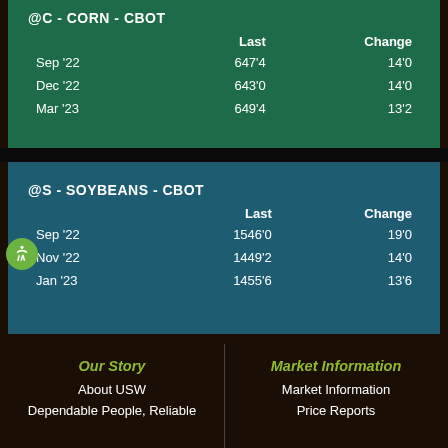|  | Last | Change |
| --- | --- | --- |
| Sep '22 | 647'4 | 14'0 |
| Dec '22 | 643'0 | 14'0 |
| Mar '23 | 649'4 | 13'2 |
|  | Last | Change |
| --- | --- | --- |
| Sep '22 | 1546'0 | 19'0 |
| Nov '22 | 1449'2 | 14'0 |
| Jan '23 | 1455'6 | 13'6 |
Our Story
About USW
Dependable People, Reliable
Market Information
Market Information
Price Reports